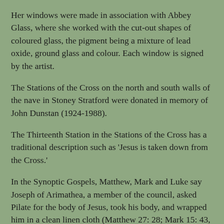Her windows were made in association with Abbey Glass, where she worked with the cut-out shapes of coloured glass, the pigment being a mixture of lead oxide, ground glass and colour. Each window is signed by the artist.
The Stations of the Cross on the north and south walls of the nave in Stoney Stratford were donated in memory of John Dunstan (1924-1988).
The Thirteenth Station in the Stations of the Cross has a traditional description such as 'Jesus is taken down from the Cross.'
In the Synoptic Gospels, Matthew, Mark and Luke say Joseph of Arimathea, a member of the council, asked Pilate for the body of Jesus, took his body, and wrapped him in a clean linen cloth (Matthew 27: 28; Mark 15: 43, 46; Luke 23: 50-53); Saint John's Gospel adds that Nicodemus helped Joseph with the preparation of the body for burial.
In Station XIII in the church in Clonard, a solider – for he is